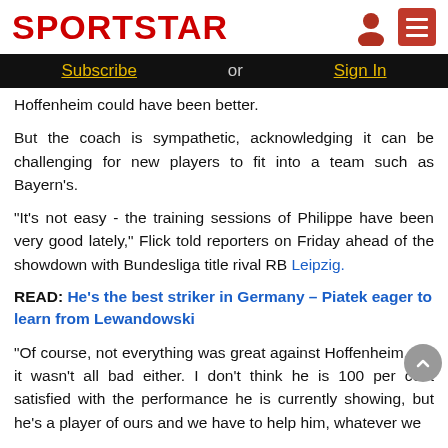SPORTSTAR
Subscribe or Sign In
Hoffenheim could have been better.
But the coach is sympathetic, acknowledging it can be challenging for new players to fit into a team such as Bayern's.
"It's not easy - the training sessions of Philippe have been very good lately," Flick told reporters on Friday ahead of the showdown with Bundesliga title rival RB Leipzig.
READ: He's the best striker in Germany – Piatek eager to learn from Lewandowski
"Of course, not everything was great against Hoffenheim, but it wasn't all bad either. I don't think he is 100 per cent satisfied with the performance he is currently showing, but he's a player of ours and we have to help him, whatever we